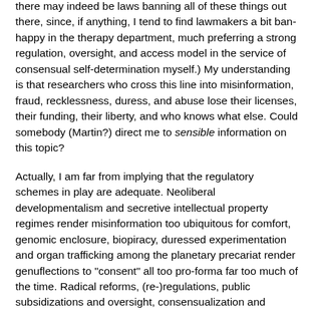there may indeed be laws banning all of these things out there, since, if anything, I tend to find lawmakers a bit ban-happy in the therapy department, much preferring a strong regulation, oversight, and access model in the service of consensual self-determination myself.) My understanding is that researchers who cross this line into misinformation, fraud, recklessness, duress, and abuse lose their licenses, their funding, their liberty, and who knows what else. Could somebody (Martin?) direct me to sensible information on this topic?
Actually, I am far from implying that the regulatory schemes in play are adequate. Neoliberal developmentalism and secretive intellectual property regimes render misinformation too ubiquitous for comfort, genomic enclosure, biopiracy, duressed experimentation and organ trafficking among the planetary precariat render genuflections to "consent" all too pro-forma far too much of the time. Radical reforms, (re-)regulations, public subsidizations and oversight, consensualization and democratization are urgently needed. I am not saying anything in saying this that reasonably well-informed democratic minded people don't already agree is